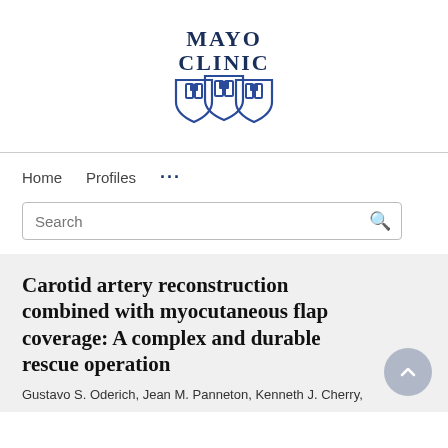[Figure (logo): Mayo Clinic logo with text 'MAYO CLINIC' and three shield/chalice icons in dark blue]
Home   Profiles   ...
Search
Carotid artery reconstruction combined with myocutaneous flap coverage: A complex and durable rescue operation
Gustavo S. Oderich, Jean M. Panneton, Kenneth J. Cherry,